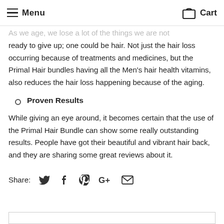Menu  Cart
As we age, we lose a lot of the things we are not ready to give up; one could be hair. Not just the hair loss occurring because of treatments and medicines, but the Primal Hair bundles having all the Men's hair health vitamins, also reduces the hair loss happening because of the aging.
Proven Results
While giving an eye around, it becomes certain that the use of the Primal Hair Bundle can show some really outstanding results. People have got their beautiful and vibrant hair back, and they are sharing some great reviews about it.
Share: